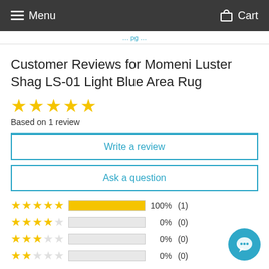Menu  Cart
(breadcrumb navigation link)
Customer Reviews for Momeni Luster Shag LS-01 Light Blue Area Rug
★★★★★ Based on 1 review
Write a review
Ask a question
| Stars | Percentage | Count |
| --- | --- | --- |
| 5 stars | 100% | (1) |
| 4 stars | 0% | (0) |
| 3 stars | 0% | (0) |
| 2 stars | 0% | (0) |